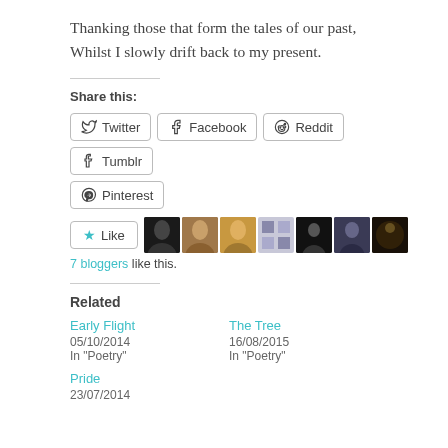Thanking those that form the tales of our past,
Whilst I slowly drift back to my present.
Share this:
Twitter  Facebook  Reddit  Tumblr  Pinterest
7 bloggers like this.
Related
Early Flight
05/10/2014
In "Poetry"
The Tree
16/08/2015
In "Poetry"
Pride
23/07/2014